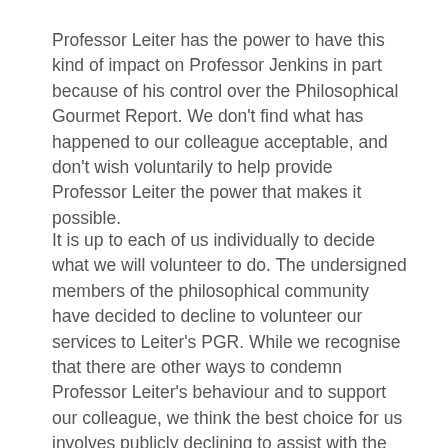Professor Leiter has the power to have this kind of impact on Professor Jenkins in part because of his control over the Philosophical Gourmet Report. We don't find what has happened to our colleague acceptable, and don't wish voluntarily to help provide Professor Leiter the power that makes it possible.
It is up to each of us individually to decide what we will volunteer to do. The undersigned members of the philosophical community have decided to decline to volunteer our services to Leiter's PGR. While we recognise that there are other ways to condemn Professor Leiter's behaviour and to support our colleague, we think the best choice for us involves publicly declining to assist with the PGR. We cannot continue to volunteer services in support of the PGR in good conscience as long as Brian Leiter continues to behave in this way. We therefore decline to take the PGR survey, we decline to serve on the PGR